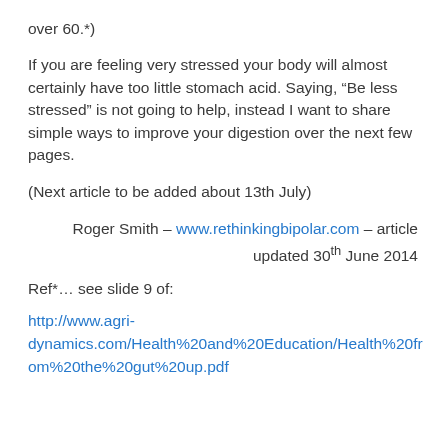over 60.*)
If you are feeling very stressed your body will almost certainly have too little stomach acid. Saying, “Be less stressed” is not going to help, instead I want to share simple ways to improve your digestion over the next few pages.
(Next article to be added about 13th July)
Roger Smith – www.rethinkingbipolar.com – article updated 30th June 2014
Ref*… see slide 9 of:
http://www.agri-dynamics.com/Health%20and%20Education/Health%20from%20the%20gut%20up.pdf